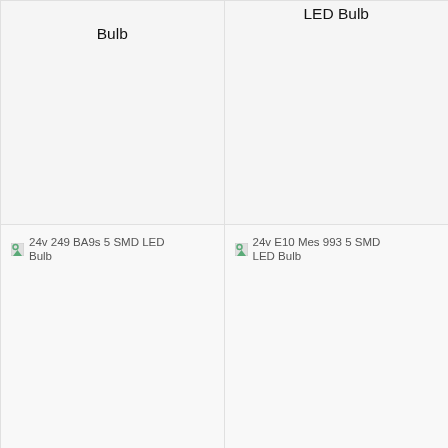[Figure (photo): Product image placeholder for 24v BA15s 8 SMD LED Bulb (top, cut off)]
Bulb
[Figure (photo): Product image placeholder for 24v BA15s 13 SMD LED Bulb (top, cut off)]
LED Bulb
24v 149 BA15s 8 SMD LED Bulb
From £4.49
24v 246 BA15s 13 SMD LED Bulb
From £5.49
[Figure (photo): Product image placeholder for 24v 249 BA9s 5 SMD LED Bulb]
24v 249 BA9s 5 SMD LED Bulb
[Figure (photo): Product image placeholder for 24v E10 Mes 993 5 SMD LED Bulb]
24v E10 Mes 993 5 SMD LED Bulb